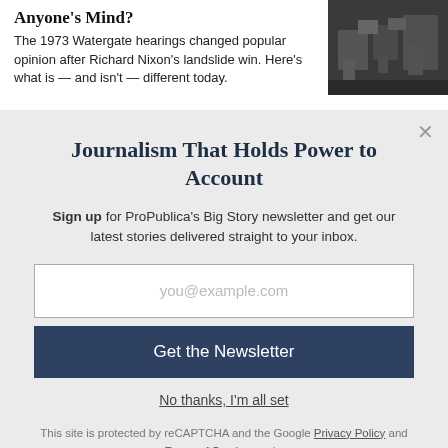Anyone's Mind?
The 1973 Watergate hearings changed popular opinion after Richard Nixon's landslide win. Here's what is — and isn't — different today.
[Figure (photo): Black and white photo of people in a bar or diner watching television, likely during Watergate hearings]
Journalism That Holds Power to Account
Sign up for ProPublica's Big Story newsletter and get our latest stories delivered straight to your inbox.
you@example.com
Get the Newsletter
No thanks, I'm all set
This site is protected by reCAPTCHA and the Google Privacy Policy and Terms of Service apply.